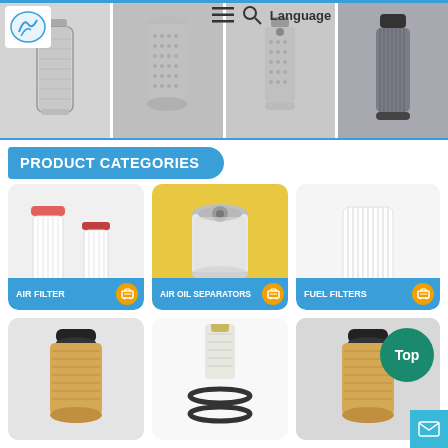[Figure (photo): Top banner showing four industrial filter products side by side, with company logo (blue wave design) in top left, hamburger menu icon, search icon, and Language text in top right]
PRODUCT CATEGORIES
[Figure (photo): Air Filter product card showing two cylindrical air filters with pink/red caps on white background]
[Figure (photo): Air Oil Separators product card showing a cylindrical separator on yellow background]
[Figure (photo): Fuel Filters product card showing a pleated cylindrical fuel filter on light background]
[Figure (photo): Oil filter product card showing a cylindrical oil filter with black top on grey background]
[Figure (photo): Filter product card showing a small cylindrical filter with o-rings on white background]
[Figure (photo): Filter product card showing a pleated cylindrical filter on grey background, with green Top button and teal mail button overlaid]